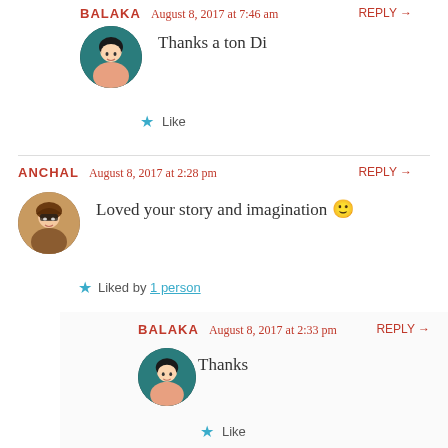BALAKA — August 8, 2017 at 7:46 am — REPLY →
Thanks a ton Di
★ Like
ANCHAL — August 8, 2017 at 2:28 pm — REPLY →
Loved your story and imagination 🙂
★ Liked by 1 person
BALAKA — August 8, 2017 at 2:33 pm — REPLY →
Thanks
★ Like